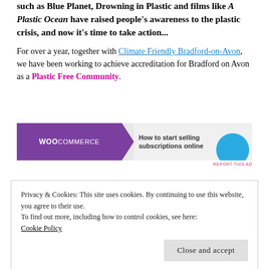such as Blue Planet, Drowning in Plastic and films like A Plastic Ocean have raised people's awareness to the plastic crisis, and now it's time to take action...
For over a year, together with Climate Friendly Bradford-on-Avon, we have been working to achieve accreditation for Bradford on Avon as a Plastic Free Community.
[Figure (other): WooCommerce advertisement banner - How to start selling subscriptions online]
REPORT THIS AD
Privacy & Cookies: This site uses cookies. By continuing to use this website, you agree to their use.
To find out more, including how to control cookies, see here:
Cookie Policy
Close and accept